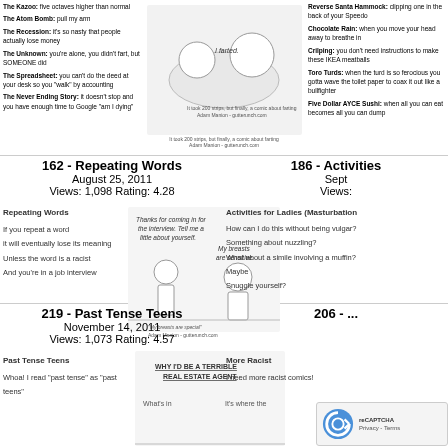[Figure (illustration): Top strip showing comic panels with list of fart types on left, comic strip in center, and more fart types on right]
162 - Repeating Words
August 25, 2011
Views: 1,098 Rating: 4.28
Repeating Words
If you repeat a word
it will eventually lose its meaning
Unless the word is a racist
And you're in a job interview
[Figure (illustration): Comic strip: job interview scene, woman says 'My breasts are sensitive.' Caption: 'My breasts are special' Adam Manion - gutterunch.com]
186 - Activities
Sept
Views:
Activities for Ladies (Masturbation
How can I do this without being vulgar?
Something about nuzzling?
What about a simile involving a muffin?
Maybe
Snuggle yourself?
219 - Past Tense Teens
November 14, 2011
Views: 1,073 Rating: 4.57
Past Tense Teens
Whoa! I read 'past tense' as 'past teens'
[Figure (illustration): Comic: WHY I'D BE A TERRIBLE REAL ESTATE AGENT - What's in... It's where the]
More Racist
I need more racist comics!